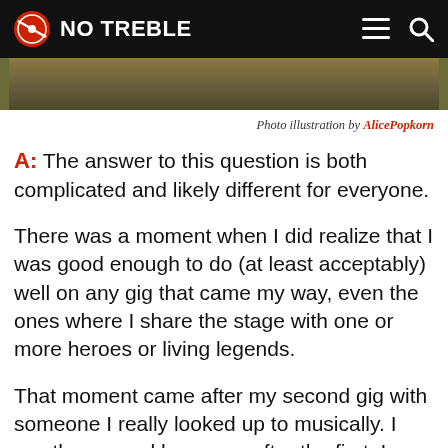NO TREBLE
[Figure (photo): Partial image strip showing a photo illustration]
Photo illustration by AlicePopkorn
A: The answer to this question is both complicated and likely different for everyone.
There was a moment when I did realize that I was good enough to do (at least acceptably) well on any gig that came my way, even the ones where I share the stage with one or more heroes or living legends.
That moment came after my second gig with someone I really looked up to musically. I say the second because, after the first, I thought that